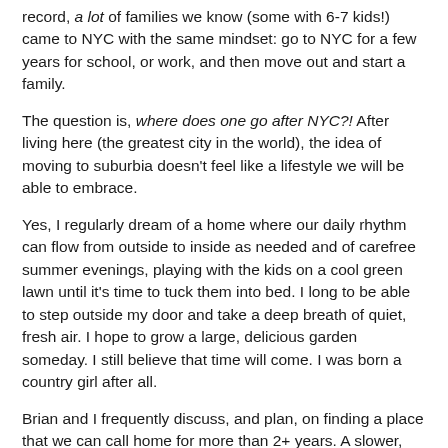record, a lot of families we know (some with 6-7 kids!) came to NYC with the same mindset: go to NYC for a few years for school, or work, and then move out and start a family.
The question is, where does one go after NYC?! After living here (the greatest city in the world), the idea of moving to suburbia doesn't feel like a lifestyle we will be able to embrace.
Yes, I regularly dream of a home where our daily rhythm can flow from outside to inside as needed and of carefree summer evenings, playing with the kids on a cool green lawn until it's time to tuck them into bed. I long to be able to step outside my door and take a deep breath of quiet, fresh air. I hope to grow a large, delicious garden someday. I still believe that time will come. I was born a country girl after all.
Brian and I frequently discuss, and plan, on finding a place that we can call home for more than 2+ years. A slower, possibly simpler, lifestyle is appealing during this season of bearing, raising, and growing our sweet little ones. We have been searching for some deep, rich soil in which to bury our roots. But we have not found that fertile ground yet. Until we find it we